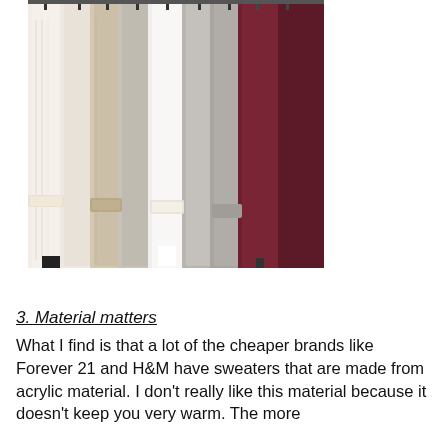[Figure (photo): A row of sweaters and knit garments hanging on a clothing rack. Colors range from cream and beige to grey and dark burgundy/maroon. The garments are densely packed together on black hangers.]
3. Material matters
What I find is that a lot of the cheaper brands like Forever 21 and H&M have sweaters that are made from acrylic material. I don't really like this material because it doesn't keep you very warm. The more